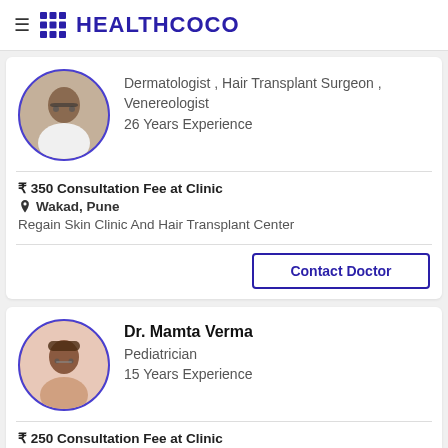HEALTHCOCO
[Figure (photo): Doctor portrait photo in circular frame with blue border - first doctor (unnamed, partial card)]
Dermatologist , Hair Transplant Surgeon , Venereologist
26 Years Experience
₹ 350 Consultation Fee at Clinic
Wakad, Pune
Regain Skin Clinic And Hair Transplant Center
Contact Doctor
[Figure (photo): Doctor portrait photo of Dr. Mamta Verma in circular frame with blue border]
Dr. Mamta Verma
Pediatrician
15 Years Experience
₹ 250 Consultation Fee at Clinic